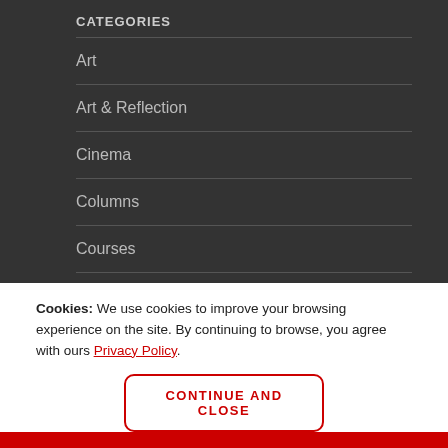CATEGORIES
Art
Art & Reflection
Cinema
Columns
Courses
Cookies: We use cookies to improve your browsing experience on the site. By continuing to browse, you agree with ours Privacy Policy.
CONTINUE AND CLOSE